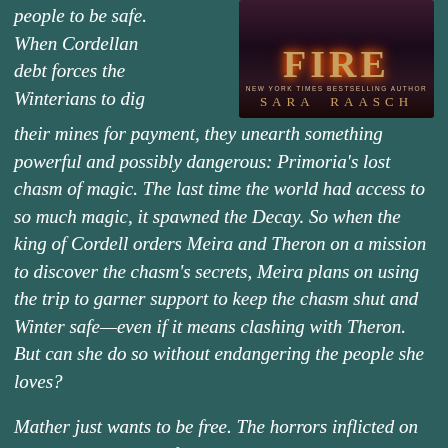people to be safe. When Cordellan debt forces the Winterians to dig their mines for payment, they unearth something powerful and possibly dangerous: Primoria's lost chasm of magic. The last time the world had access to so much magic, it spawned the Decay. So when the king of Cordell orders Meira and Theron on a mission to discover the chasm's secrets, Meira plans on using the trip to garner support to keep the chasm shut and Winter safe—even if it means clashing with Theron. But can she do so without endangering the people she loves?
[Figure (illustration): Book cover for 'Fire' by Sara Raasch, New York Times bestselling author. Dark atmospheric cover with fiery orange lettering.]
Mather just wants to be free. The horrors inflicted on the Winterians hang fresh and raw in Jannuari—leaving Winter vulnerable to Cordell's growing